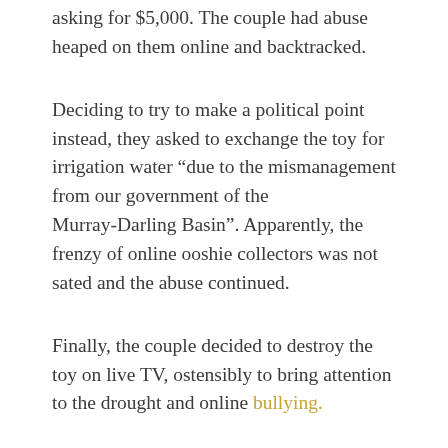asking for $5,000. The couple had abuse heaped on them online and backtracked.
Deciding to try to make a political point instead, they asked to exchange the toy for irrigation water “due to the mismanagement from our government of the Murray-Darling Basin”. Apparently, the frenzy of online ooshie collectors was not sated and the abuse continued.
Finally, the couple decided to destroy the toy on live TV, ostensibly to bring attention to the drought and online bullying.
If I had to try to explain all of this to that Roman, I wouldn’t even know where to begin. But the part of the saga that particularly struck me was what it said about